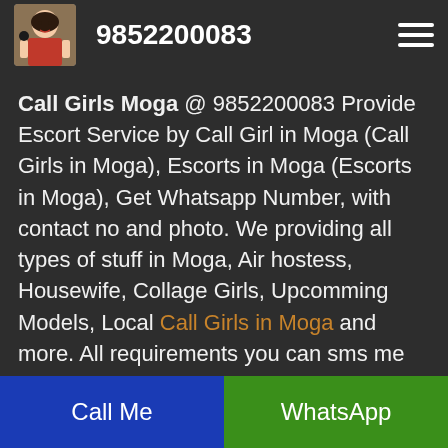9852200083
Call Girls Moga @ 9852200083 Provide Escort Service by Call Girl in Moga (Call Girls in Moga), Escorts in Moga (Escorts in Moga), Get Whatsapp Number, with contact no and photo. We providing all types of stuff in Moga, Air hostess, Housewife, Collage Girls, Upcomming Models, Local Call Girls in Moga and more. All requirements you can sms me or call me at 9852200083. Book Models for Dating and Companionship.
Call Me | WhatsApp